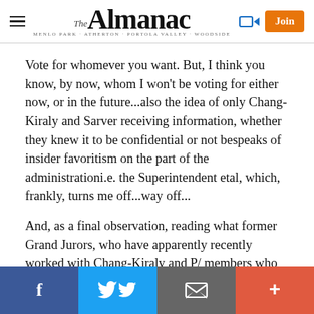The Almanac — MENLO PARK · ATHERTON · PORTOLA VALLEY · WOODSIDE
Vote for whomever you want. But, I think you know, by now, whom I won't be voting for either now, or in the future...also the idea of only Chang-Kiraly and Sarver receiving information, whether they knew it to be confidential or not bespeaks of insider favoritism on the part of the administrationi.e. the Superintendent etal, which, frankly, turns me off...way off...
And, as a final observation, reading what former Grand Jurors, who have apparently recently worked with Chang-Kiraly and P/ members who have also worked with this woman in the past, have written in this comments section
Facebook | Twitter | Email | More